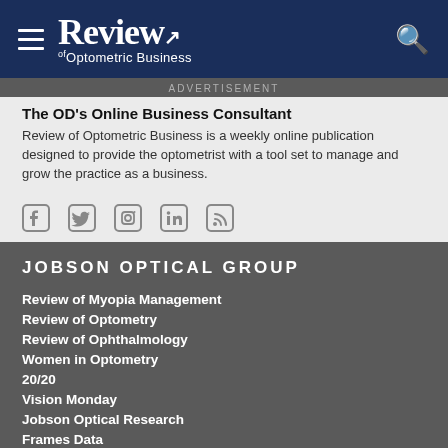Review of Optometric Business
ADVERTISEMENT
The OD's Online Business Consultant
Review of Optometric Business is a weekly online publication designed to provide the optometrist with a tool set to manage and grow the practice as a business.
[Figure (illustration): Social media icons: Facebook, Twitter, Instagram, LinkedIn, RSS feed]
JOBSON OPTICAL GROUP
Review of Myopia Management
Review of Optometry
Review of Ophthalmology
Women in Optometry
20/20
Vision Monday
Jobson Optical Research
Frames Data
LabTalk Online
Jobson Interactive